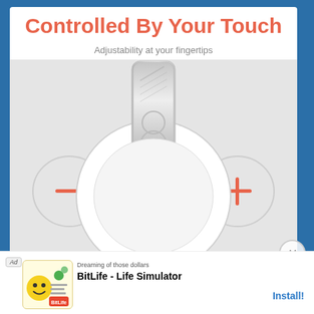Controlled By Your Touch
Adjustability at your fingertips
[Figure (photo): Top-down view of white Beats by Dr. Dre headphones showing touch controls on earcup, with minus (-) button on left side and plus (+) button on right side, silver headband visible at top]
Som... brig...
Ad — BitLife - Life Simulator — Install!